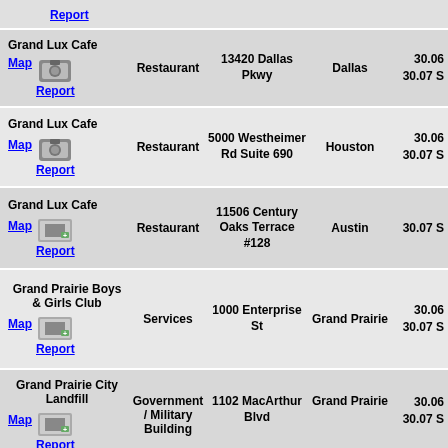| Name | Type | Address | City | Distance |
| --- | --- | --- | --- | --- |
| Grand Lux Cafe | Restaurant | 13420 Dallas Pkwy | Dallas | 30.06 30.07 S |
| Grand Lux Cafe | Restaurant | 5000 Westheimer Rd Suite 690 | Houston | 30.06 30.07 S |
| Grand Lux Cafe | Restaurant | 11506 Century Oaks Terrace #128 | Austin | 30.07 S |
| Grand Prairie Boys & Girls Club | Services | 1000 Enterprise St | Grand Prairie | 30.06 30.07 S |
| Grand Prairie City Landfill | Government / Military Building | 1102 MacArthur Blvd | Grand Prairie | 30.06 30.07 S |